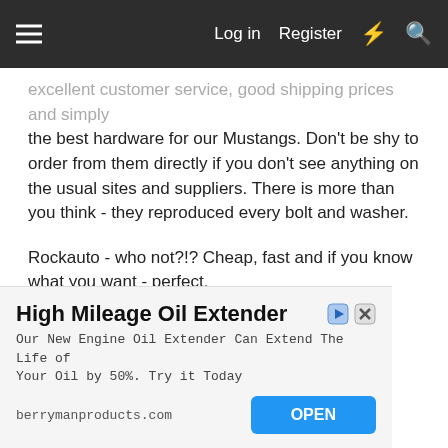Log in  Register
excellent customer service, good shipping prices and simply the best hardware for our Mustangs. Don't be shy to order from them directly if you don't see anything on the usual sites and suppliers. There is more than you think - they reproduced every bolt and washer.
Rockauto - who not?!? Cheap, fast and if you know what you want - perfect.
MACs Auto Parts I had a few orders since and it was every time a good experience.
Also Marti Auto Works, Dennis and Daniel Carpenter or Kentucky Mustang, Motorcitymusclecar, Speedway Motors,
[Figure (infographic): Advertisement banner for High Mileage Oil Extender by berrymanproducts.com with an OPEN button]